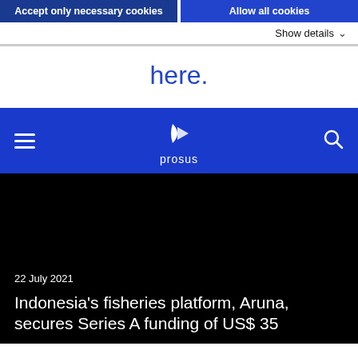Accept only necessary cookies | Allow all cookies
Show details
here.
[Figure (logo): Prosus company logo — white stylized P/arrow icon above the word 'prosus' in white, on a blue navigation bar with hamburger menu and search icon]
22 July 2021
Indonesia's fisheries platform, Aruna, secures Series A funding of US$ 35 million